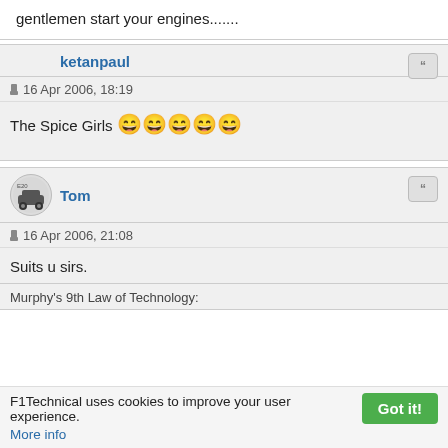gentlemen start your engines.......
ketanpaul
16 Apr 2006, 18:19
The Spice Girls 😄😄😄😄😄
Tom
16 Apr 2006, 21:08
Suits u sirs.
Murphy's 9th Law of Technology:
F1Technical uses cookies to improve your user experience. More info
Got it!